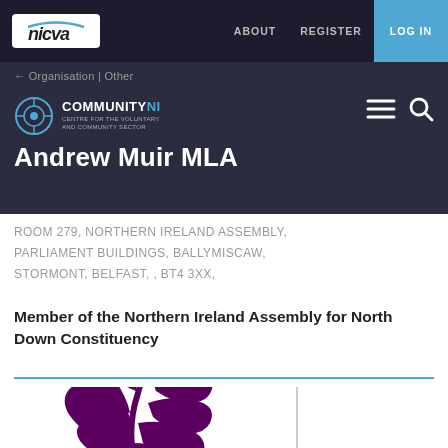nicva | ABOUT  REGISTER  LOG IN
← Organisation | Other
[Figure (logo): CommunityNI logo with circular icon and text COMMUNITY NI]
Andrew Muir MLA
ROOM 279, NORTHERN IRELAND ASSEMBLY, PARLIAMENT BUILDINGS, BALLYMISCAW, STORMONT, BELFAST, , BT4 3XX,
Member of the Northern Ireland Assembly for North Down Constituency
[Figure (logo): Purple oak/leaf branch logo icon for Andrew Muir MLA Alliance Party]